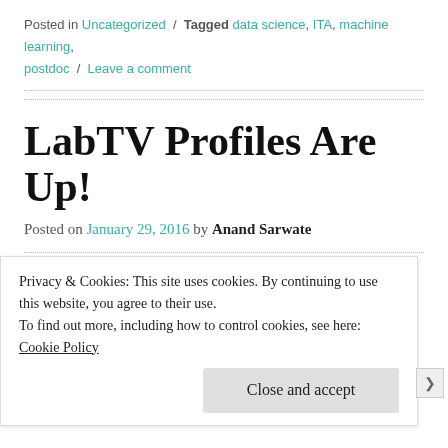Posted in Uncategorized / Tagged data science, ITA, machine learning, postdoc / Leave a comment
LabTV Profiles Are Up!
Posted on January 29, 2016 by Anand Sarwate
And now, a little pre-ITA self-promotion. As I wrote earlier, LabTV interviewed me and a subset of the students in the lab last semester (it was opt-in). This opportunity came out
Privacy & Cookies: This site uses cookies. By continuing to use this website, you agree to their use.
To find out more, including how to control cookies, see here: Cookie Policy
Close and accept